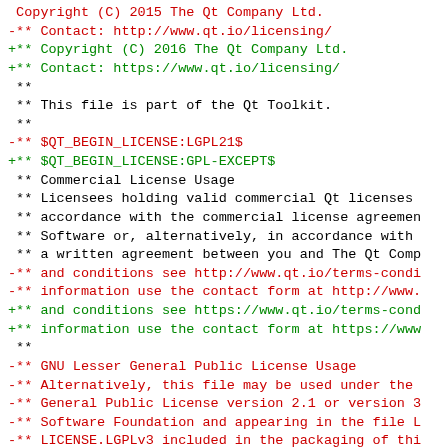Diff output showing changes to Qt license header: removal of LGPL21 license and addition of GPL-EXCEPT license, with associated URL and text changes.